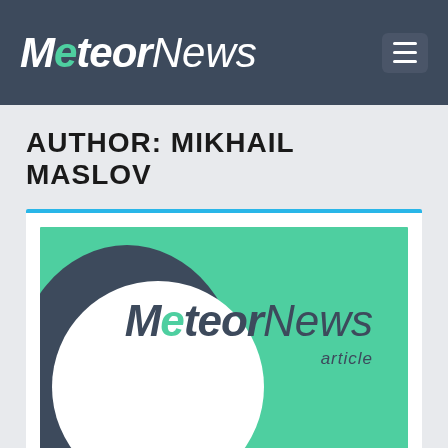MeteorNews
AUTHOR: MIKHAIL MASLOV
[Figure (logo): MeteorNews article thumbnail with teal/green background, dark circular shape on left, and MeteorNews article logo text on right]
LEONIDS 2018 – POSSIBLE ACTIVITY…